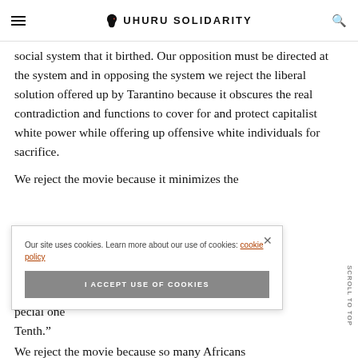UHURU SOLIDARITY
social system that it birthed. Our opposition must be directed at the system and in opposing the system we reject the liberal solution offered up by Tarantino because it obscures the real contradiction and functions to cover for and protect capitalist white power while offering up offensive white individuals for sacrifice.
We reject the movie because it minimizes the [...]ing and [...] itical [...] pecial one [...] Tenth."
We reject the movie because so many Africans
Our site uses cookies. Learn more about our use of cookies: cookie policy
I ACCEPT USE OF COOKIES